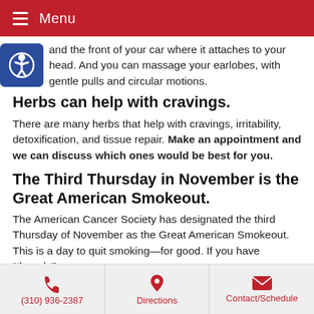Menu
and the front of your car where it attaches to your head. And you can massage your earlobes, with gentle pulls and circular motions.
Herbs can help with cravings.
There are many herbs that help with cravings, irritability, detoxification, and tissue repair. Make an appointment and we can discuss which ones would be best for you.
The Third Thursday in November is the Great American Smokeout.
The American Cancer Society has designated the third Thursday of November as the Great American Smokeout. This is a day to quit smoking—for good. If you have “thought”
(310) 936-2387  Directions  Contact/Schedule